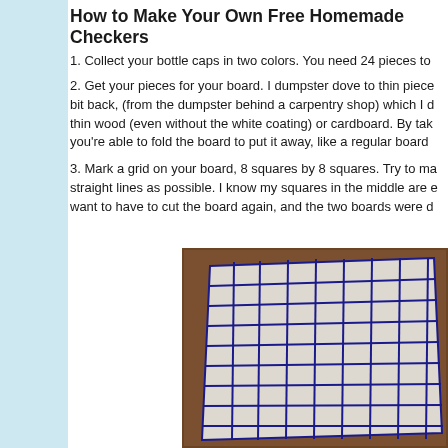How to Make Your Own Free Homemade Checkers
1. Collect your bottle caps in two colors. You need 24 pieces to
2. Get your pieces for your board. I dumpster dove to thin pieces bit back, (from the dumpster behind a carpentry shop) which I d thin wood (even without the white coating) or cardboard. By tak you're able to fold the board to put it away, like a regular board
3. Mark a grid on your board, 8 squares by 8 squares. Try to ma straight lines as possible. I know my squares in the middle are e want to have to cut the board again, and the two boards were d
[Figure (photo): A homemade checkerboard made from white pieces with a blue grid drawn on them, laid on a wooden surface. The board shows an 8x8 grid drawn in blue marker on white material.]